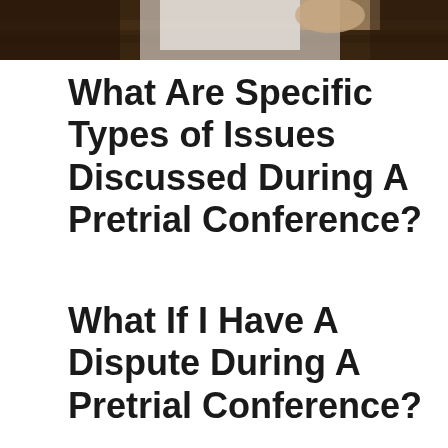[Figure (photo): Photograph of a courtroom scene, showing a person's hands near what appears to be a judge's bench or wooden furniture, partially cropped at the top of the page.]
What Are Specific Types of Issues Discussed During A Pretrial Conference?
What If I Have A Dispute During A Pretrial Conference?